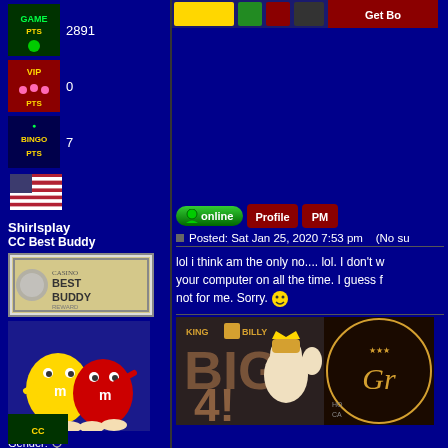[Figure (screenshot): Game points badge with value 2891]
2891
[Figure (screenshot): VIP points badge with value 0]
0
[Figure (screenshot): Bingo points badge with value 7]
7
[Figure (photo): US flag icon]
Shirlsplay
CC Best Buddy
[Figure (screenshot): Best Buddy badge - currency note styled graphic]
[Figure (photo): M&M characters avatar - yellow and red M&M figures]
Gender: [female icon]
Joined: 30 Jun 2005
Posts: 28210
Location: Reno,Nevada
[Figure (screenshot): Top banner ads - casino promotional banners]
[Figure (screenshot): Online status button, Profile button, PM button]
Posted: Sat Jan 25, 2020 7:53 pm    (No su
lol i think am the only no.... lol. I don't w your computer on all the time. I guess f not for me. Sorry.
[Figure (screenshot): King Billy Casino BIG 41 advertisement banner]
[Figure (screenshot): Grand casino advertisement banner partial]